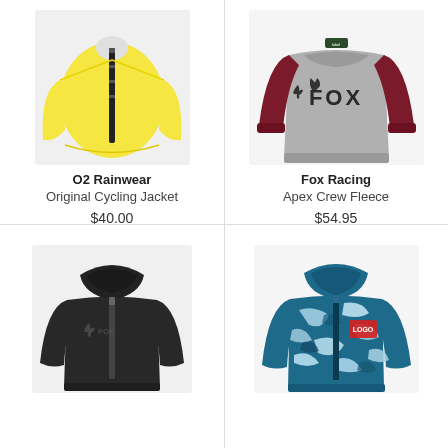[Figure (photo): Yellow O2 Rainwear Original Cycling Jacket on mannequin, white background]
O2 Rainwear
Original Cycling Jacket
$40.00
[Figure (photo): Fox Racing Apex Crew Fleece sweatshirt, grey body with dark red/maroon sleeves, Fox logo on chest]
Fox Racing
Apex Crew Fleece
$54.95
[Figure (photo): Black Fox Racing zip-up hoodie with Fox logo on chest, on white background]
[Figure (photo): Blue camouflage zip-up hoodie with small logo patch, on white background]